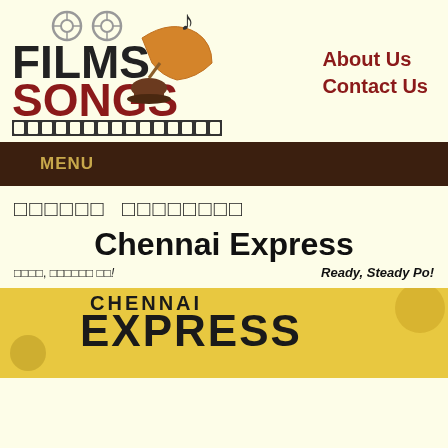[Figure (logo): Films Songs website logo with gramophone, film reel, and musical note graphics. Text reads FILMS SONGS with film strip at bottom.]
About Us
Contact Us
MENU
□□□□□□ □□□□□□□□
Chennai Express
□□□□, □□□□□□ □□!   Ready, Steady Po!
[Figure (photo): Chennai Express movie poster/image showing the text EXPRESS in stylized letters on yellow background]